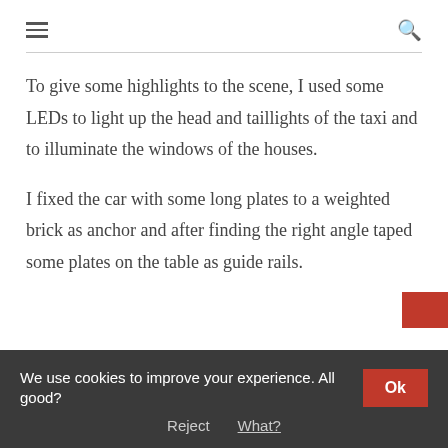☰  🔍
To give some highlights to the scene, I used some LEDs to light up the head and taillights of the taxi and to illuminate the windows of the houses.
I fixed the car with some long plates to a weighted brick as anchor and after finding the right angle taped some plates on the table as guide rails.
We use cookies to improve your experience. All good?  Ok  Reject  What?